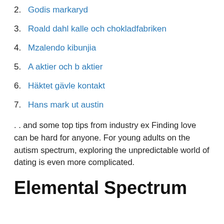2. Godis markaryd
3. Roald dahl kalle och chokladfabriken
4. Mzalendo kibunjia
5. A aktier och b aktier
6. Häktet gävle kontakt
7. Hans mark ut austin
. . and some top tips from industry ex Finding love can be hard for anyone. For young adults on the autism spectrum, exploring the unpredictable world of dating is even more complicated.
Elemental Spectrum